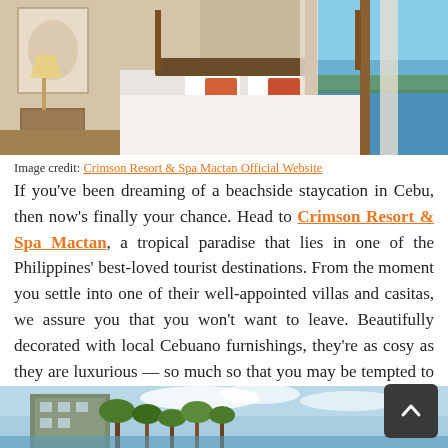[Figure (photo): Hotel room interior with white bed, orange accent pillows, wooden furniture, lamp, and large window/door opening to ocean view with infinity pool]
Image credit: Crimson Resort & Spa Mactan Official Website
If you've been dreaming of a beachside staycation in Cebu, then now's finally your chance. Head to Crimson Resort & Spa Mactan, a tropical paradise that lies in one of the Philippines' best-loved tourist destinations. From the moment you settle into one of their well-appointed villas and casitas, we assure you that you won't want to leave. Beautifully decorated with local Cebuano furnishings, they're as cosy as they are luxurious — so much so that you may be tempted to just stay in for most of your vacay.
[Figure (photo): Exterior view of resort building with palm trees and blue sky]